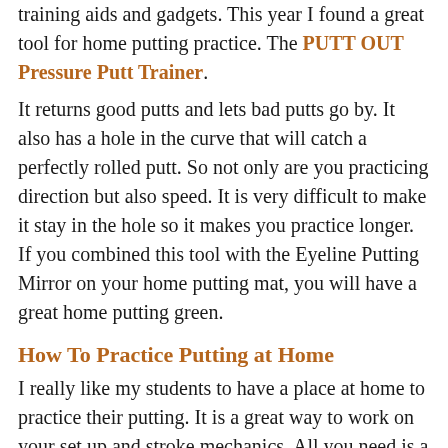training aids and gadgets. This year I found a great tool for home putting practice. The PUTT OUT Pressure Putt Trainer.
It returns good putts and lets bad putts go by. It also has a hole in the curve that will catch a perfectly rolled putt. So not only are you practicing direction but also speed. It is very difficult to make it stay in the hole so it makes you practice longer. If you combined this tool with the Eyeline Putting Mirror on your home putting mat, you will have a great home putting green.
How To Practice Putting at Home
I really like my students to have a place at home to practice their putting. It is a great way to work on your set up and stroke mechanics. All you need is a good carpet or putting mat, plus a hole. Now getting a hole on your putting mat is difficult so I use the Eyeline BullsEye Cup